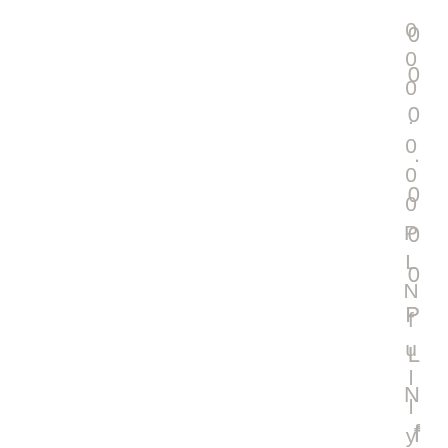0 0 0 . 0 0 0 P L N f u l l y
0 0 0 . 0 0 0 P L N f u l l y